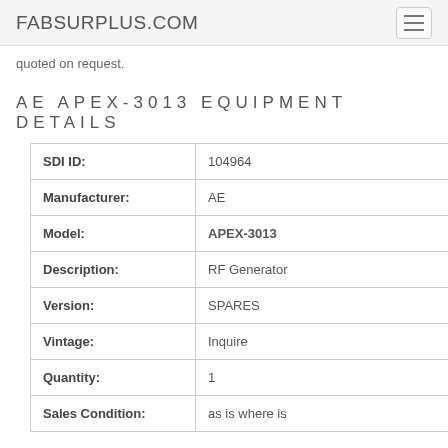FABSURPLUS.COM
quoted on request.
AE APEX-3013 EQUIPMENT DETAILS
| Field | Value |
| --- | --- |
| SDI ID: | 104964 |
| Manufacturer: | AE |
| Model: | APEX-3013 |
| Description: | RF Generator |
| Version: | SPARES |
| Vintage: | Inquire |
| Quantity: | 1 |
| Sales Condition: | as is where is |